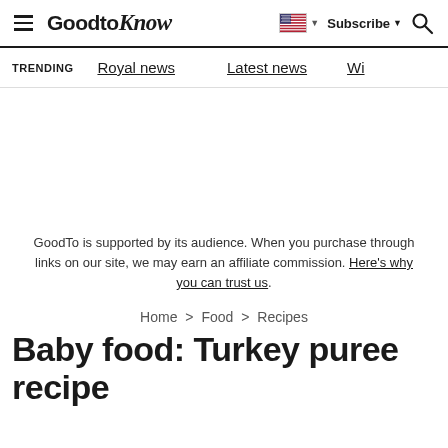GoodtoKnow — Subscribe | Search | Flag
TRENDING  Royal news  Latest news  Wi...
GoodTo is supported by its audience. When you purchase through links on our site, we may earn an affiliate commission. Here's why you can trust us.
Home > Food > Recipes
Baby food: Turkey puree recipe